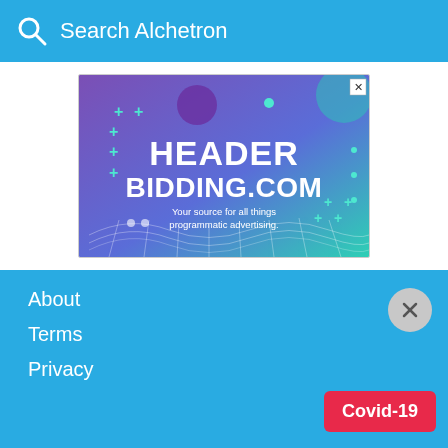Search Alchetron
[Figure (illustration): Advertisement banner for HeaderBidding.com — gradient purple to teal background with decorative plus signs, dots, and a grid mesh wave. Large white text reads HEADER BIDDING.COM with tagline Your source for all things programmatic advertising. A close (X) button is in the top-right corner.]
About
Terms
Privacy
Covid-19